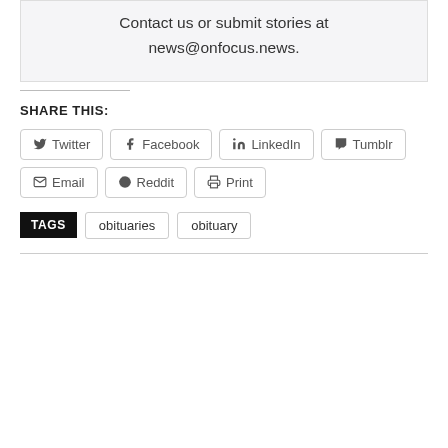Contact us or submit stories at news@onfocus.news.
SHARE THIS:
Twitter  Facebook  LinkedIn  Tumblr  Email  Reddit  Print
TAGS  obituaries  obituary